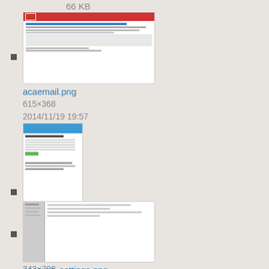66 KB
acaemail.png
615×368
2014/11/19 19:57
30.7 KB
account_option.png
343×709
2013/10/09 21:18
33.2 KB
account_settings.png
1214×603
2013/10/11 20:25